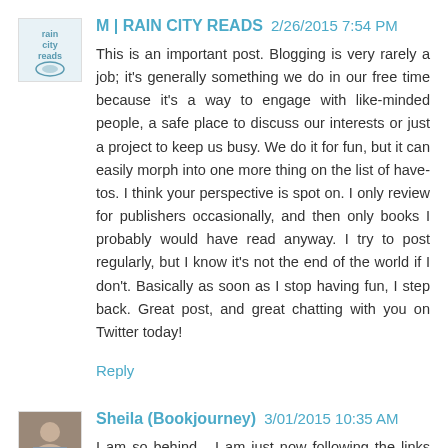M | RAIN CITY READS 2/26/2015 7:54 PM
This is an important post. Blogging is very rarely a job; it's generally something we do in our free time because it's a way to engage with like-minded people, a safe place to discuss our interests or just a project to keep us busy. We do it for fun, but it can easily morph into one more thing on the list of have-tos. I think your perspective is spot on. I only review for publishers occasionally, and then only books I probably would have read anyway. I try to post regularly, but I know it's not the end of the world if I don't. Basically as soon as I stop having fun, I step back. Great post, and great chatting with you on Twitter today!
Reply
Sheila (Bookjourney) 3/01/2015 10:35 AM
I am so behind... I am just now following the links about the plagiarism (which I missed that whole discussion!) Excellent discussion here and at 3 R's. I smiled when you